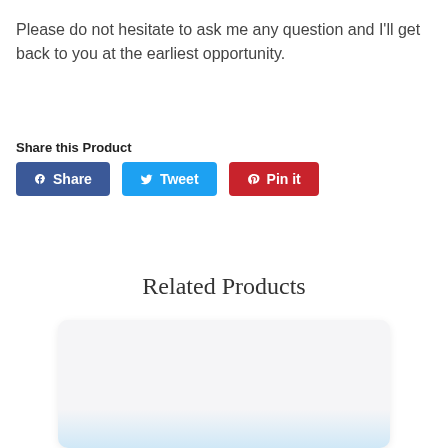Please do not hesitate to ask me any question and I'll get back to you at the earliest opportunity.
Share this Product
Share | Tweet | Pin it
Related Products
[Figure (photo): Product card image placeholder at the bottom of the page]